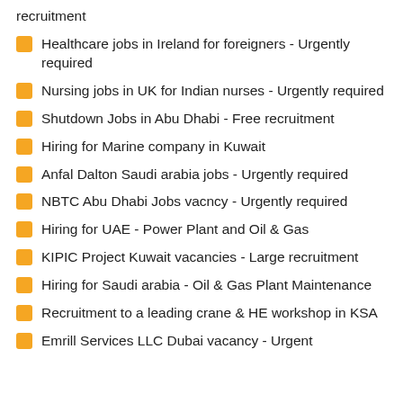recruitment
Healthcare jobs in Ireland for foreigners - Urgently required
Nursing jobs in UK for Indian nurses - Urgently required
Shutdown Jobs in Abu Dhabi - Free recruitment
Hiring for Marine company in Kuwait
Anfal Dalton Saudi arabia jobs - Urgently required
NBTC Abu Dhabi Jobs vacncy - Urgently required
Hiring for UAE - Power Plant and Oil & Gas
KIPIC Project Kuwait vacancies - Large recruitment
Hiring for Saudi arabia - Oil & Gas Plant Maintenance
Recruitment to a leading crane & HE workshop in KSA
Emrill Services LLC Dubai vacancy - Urgent